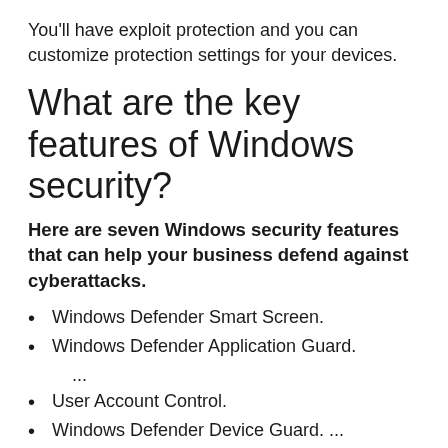You'll have exploit protection and you can customize protection settings for your devices.
What are the key features of Windows security?
Here are seven Windows security features that can help your business defend against cyberattacks.
Windows Defender Smart Screen.
Windows Defender Application Guard.
...
User Account Control.
Windows Defender Device Guard. ...
Windows Defender Exploit Guard. ...